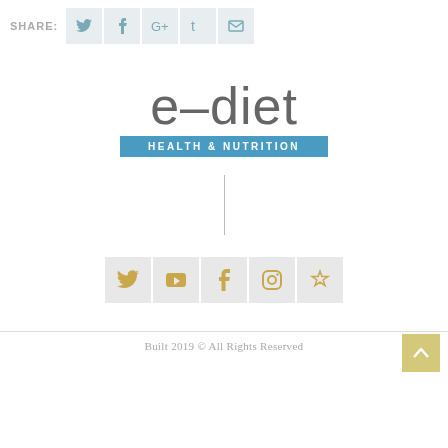SHARE: (social share icons: Twitter, Facebook, Google+, Tumblr, Email)
[Figure (logo): e-diet HEALTH & NUTRITION logo — 'e-diet' in large grey sans-serif text, with 'HEALTH & NUTRITION' in a blue rectangle below]
|
[Figure (infographic): Row of 5 social media icon buttons (Twitter, YouTube, Facebook, Instagram, Pinterest/flower) in grey squares with gold/yellow icons]
Built 2019 © All Rights Reserved